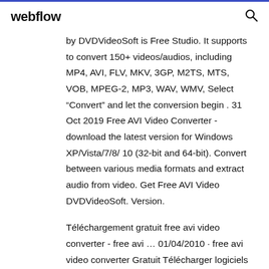webflow
by DVDVideoSoft is Free Studio. It supports to convert 150+ videos/audios, including MP4, AVI, FLV, MKV, 3GP, M2TS, MTS, VOB, MPEG-2, MP3, WAV, WMV, Select “Convert” and let the conversion begin . 31 Oct 2019 Free AVI Video Converter - download the latest version for Windows XP/Vista/7/8/ 10 (32-bit and 64-bit). Convert between various media formats and extract audio from video. Get Free AVI Video DVDVideoSoft. Version.
Téléchargement gratuit free avi video converter - free avi ... 01/04/2010 · free avi video converter Gratuit Télécharger logiciels à UpdateStar - Gratuit AVI Video Converter est